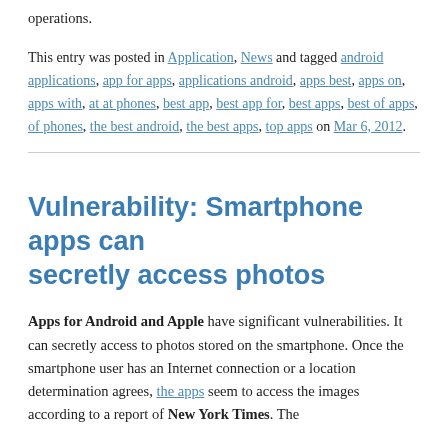operations.
This entry was posted in Application, News and tagged android applications, app for apps, applications android, apps best, apps on, apps with, at at phones, best app, best app for, best apps, best of apps, of phones, the best android, the best apps, top apps on Mar 6, 2012.
Vulnerability: Smartphone apps can secretly access photos
Apps for Android and Apple have significant vulnerabilities. It can secretly access to photos stored on the smartphone. Once the smartphone user has an Internet connection or a location determination agrees, the apps seem to access the images according to a report of New York Times. The